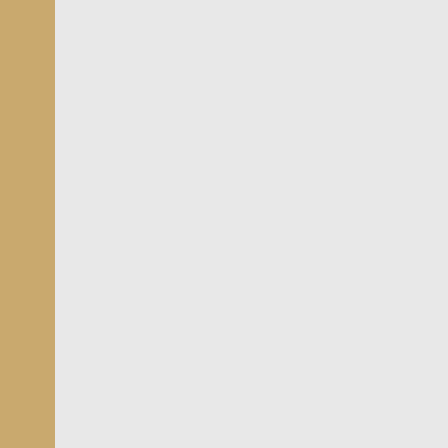Le disque dur f systemes.
[Figure (screenshot): Terminal/console output showing boot sector analysis with lines: ========== => No boot => No boot => Syslinux => No know /dev/ma  sda1: ___ File sy Boot se Boot se Operati Boot fi  sda2: ___ File sy Boot se Boot se]